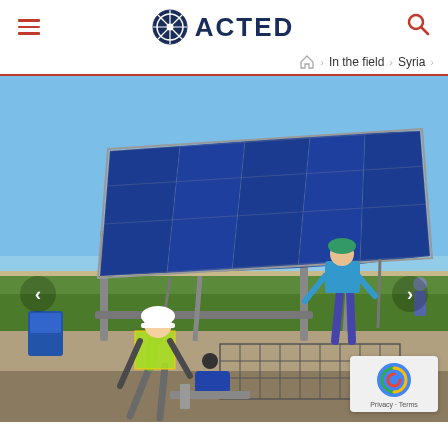ACTED (logo with hamburger menu and search icon)
In the field > Syria >
[Figure (photo): Workers in high-visibility vests and hard hats installing or maintaining a solar panel array in a field in Syria. Blue solar panels on metal frame mounts, green vegetation in background, arid landscape, clear blue sky. One worker bends over equipment near a metal cage/enclosure on the ground, another stands behind the panels.]